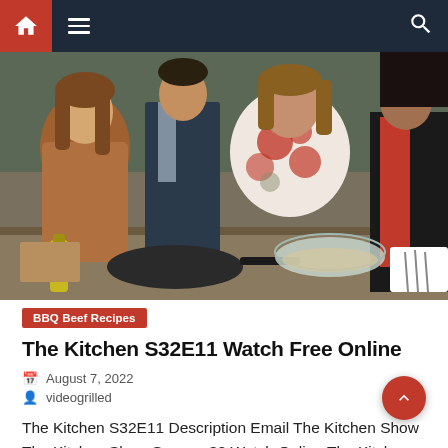[Figure (screenshot): Website navigation bar with dark navy background, red home icon button on left, hamburger menu, and search icon on right]
[Figure (photo): Photo of TV show hosts standing behind a kitchen counter with cooking equipment, pans, bowls, and ingredients. Multiple people visible including a woman in a floral red/white top and others.]
BBQ Beef Recipes
The Kitchen S32E11 Watch Free Online
August 7, 2022
videogrilled
The Kitchen S32E11 Description Email The Kitchen Show The Kitchen Show Season 32 Watch Online The Kitchen Show Season 31 Watch Online The Kitchen Show Season 30 Watch Online The Kitchen Show Season 29 Watch Online The